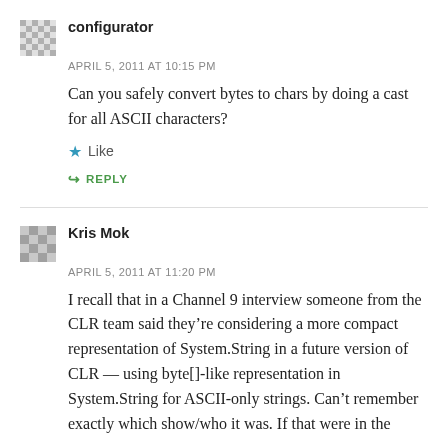configurator
APRIL 5, 2011 AT 10:15 PM
Can you safely convert bytes to chars by doing a cast for all ASCII characters?
Like
REPLY
Kris Mok
APRIL 5, 2011 AT 11:20 PM
I recall that in a Channel 9 interview someone from the CLR team said they’re considering a more compact representation of System.String in a future version of CLR — using byte[]-like representation in System.String for ASCII-only strings. Can’t remember exactly which show/who it was. If that were in the